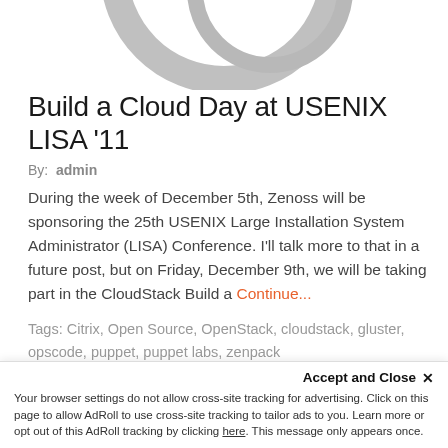[Figure (logo): Partial circular logo/swirl graphic in gray, cropped at top of page]
Build a Cloud Day at USENIX LISA '11
By: admin
During the week of December 5th, Zenoss will be sponsoring the 25th USENIX Large Installation System Administrator (LISA) Conference. I'll talk more to that in a future post, but on Friday, December 9th, we will be taking part in the CloudStack Build a Continue...
Tags: Citrix, Open Source, OpenStack, cloudstack, gluster, opscode, puppet, puppet labs, zenpack
NOVEMBER 22, 2011
Accept and Close ×
Your browser settings do not allow cross-site tracking for advertising. Click on this page to allow AdRoll to use cross-site tracking to tailor ads to you. Learn more or opt out of this AdRoll tracking by clicking here. This message only appears once.